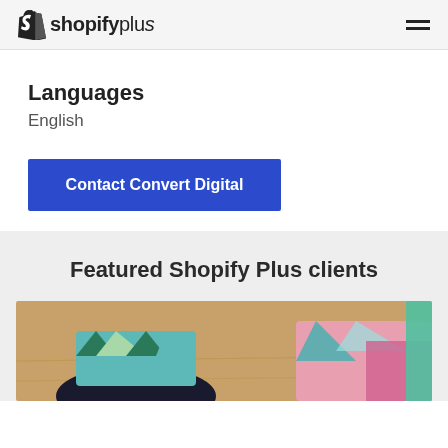shopify plus
Languages
English
Contact Convert Digital
Featured Shopify Plus clients
[Figure (photo): Photo of a person sitting cross-legged on a wooden floor, wearing a colorful geometric-patterned outfit, with colorful fabric visible to the right.]